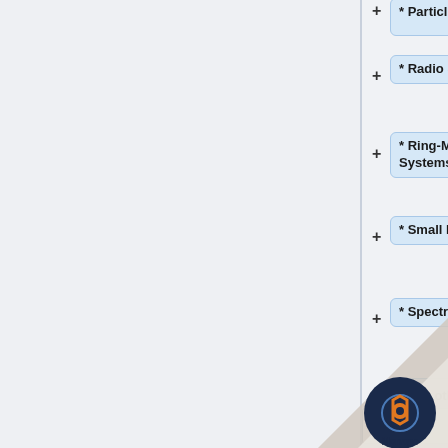* Particles
* Radio Science
* Ring-Moon Systems
* Small Bodies
* Spectroscopy
So in other words, if your product contains spectroscopy of asteroids, use "Spectroscopy" rather than "Small Bodies" as the v... this att...
[Figure (screenshot): A tree/navigation interface showing collapsible category nodes: Particles, Radio Science, Ring-Moon Systems, Small Bodies, Spectroscopy. A tooltip box explains usage of Spectroscopy vs Small Bodies. A page-curl logo overlay appears at bottom right.]